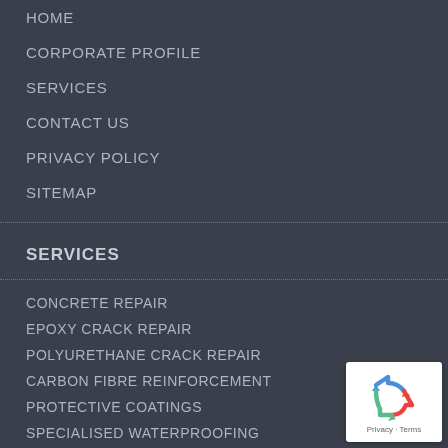HOME
CORPORATE PROFILE
SERVICES
CONTACT US
PRIVACY POLICY
SITEMAP
SERVICES
CONCRETE REPAIR
EPOXY CRACK REPAIR
POLYURETHANE CRACK REPAIR
CARBON FIBRE REINFORCEMENT
PROTECTIVE COATINGS
SPECIALISED WATERPROOFING
BRIDGE DECK WATERPROOFING
GROUTING
[Figure (logo): reCAPTCHA logo badge with recycling arrows icon, showing Privacy and Terms text]